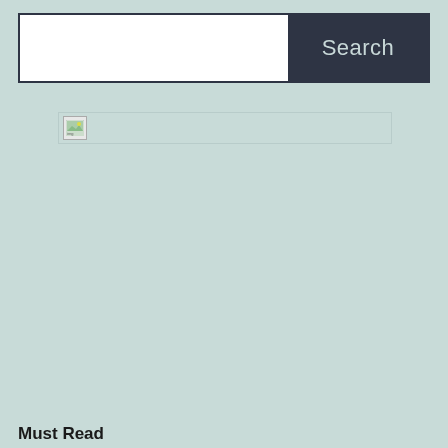[Figure (screenshot): Search bar UI element with white input field on left and dark navy Search button on right]
[Figure (other): Broken image placeholder icon with small landscape image icon on left and wide empty content area]
Must Read